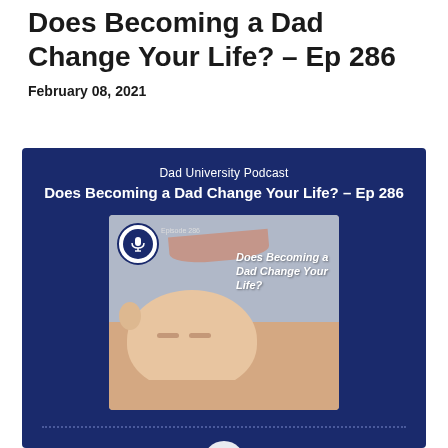Does Becoming a Dad Change Your Life? – Ep 286
February 08, 2021
[Figure (screenshot): Podcast episode card for Dad University Podcast, episode 'Does Becoming a Dad Change Your Life? – Ep 286', featuring a podcast cover image with a sleeping newborn baby being kissed by a parent, on a dark navy blue background. A dotted line and partial play button are visible at the bottom.]